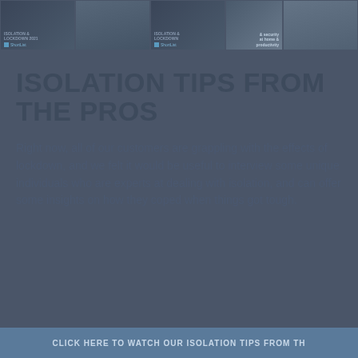[Figure (screenshot): Top banner with four thumbnail cards showing document/article previews with ShortList logos and a photo]
ISOLATION TIPS FROM THE PROS
Right now, all of our customers are grappling with the effects of lockdown, and we felt it would be useful to interview some unique individuals who are experts at dealing with isolation, and can offer some insights on how they coped when things got tough.
CLICK HERE TO WATCH OUR ISOLATION TIPS FROM TH